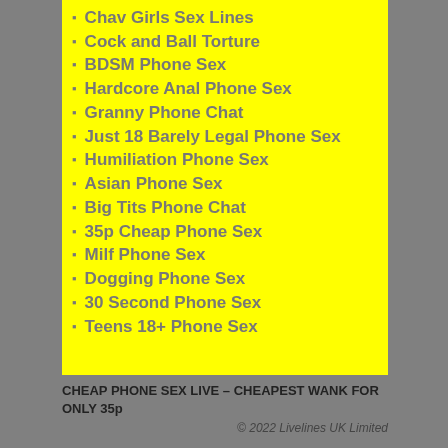Chav Girls Sex Lines
Cock and Ball Torture
BDSM Phone Sex
Hardcore Anal Phone Sex
Granny Phone Chat
Just 18 Barely Legal Phone Sex
Humiliation Phone Sex
Asian Phone Sex
Big Tits Phone Chat
35p Cheap Phone Sex
Milf Phone Sex
Dogging Phone Sex
30 Second Phone Sex
Teens 18+ Phone Sex
CHEAP PHONE SEX LIVE – CHEAPEST WANK FOR ONLY 35p
© 2022 Livelines UK Limited